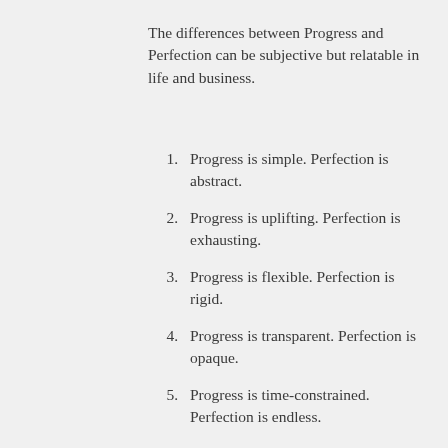The differences between Progress and Perfection can be subjective but relatable in life and business.
Progress is simple. Perfection is abstract.
Progress is uplifting. Perfection is exhausting.
Progress is flexible. Perfection is rigid.
Progress is transparent. Perfection is opaque.
Progress is time-constrained. Perfection is endless.
Progress focuses on the positive.